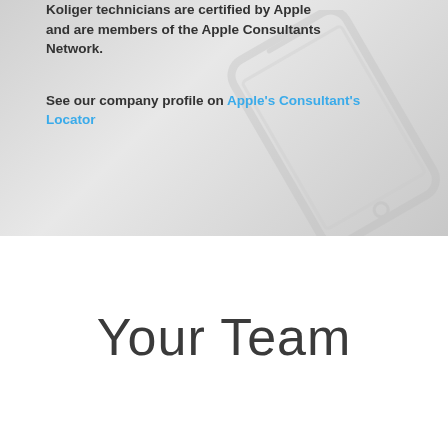Koliger technicians are certified by Apple and are members of the Apple Consultants Network.
See our company profile on Apple's Consultant's Locator
[Figure (illustration): Background image showing a light gray stylized smartphone device illustration]
Your Team